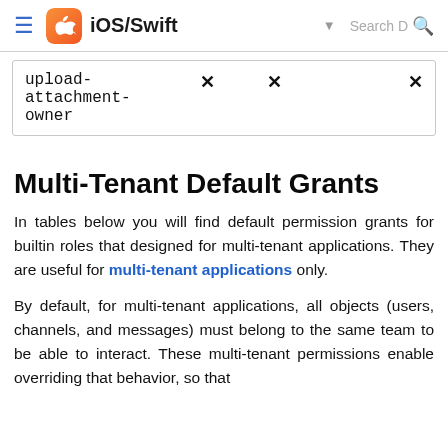iOS/Swift
| upload-attachment-owner | ✕ | ✕ | ✕ |
Multi-Tenant Default Grants
In tables below you will find default permission grants for builtin roles that designed for multi-tenant applications. They are useful for multi-tenant applications only.
By default, for multi-tenant applications, all objects (users, channels, and messages) must belong to the same team to be able to interact. These multi-tenant permissions enable overriding that behavior, so that